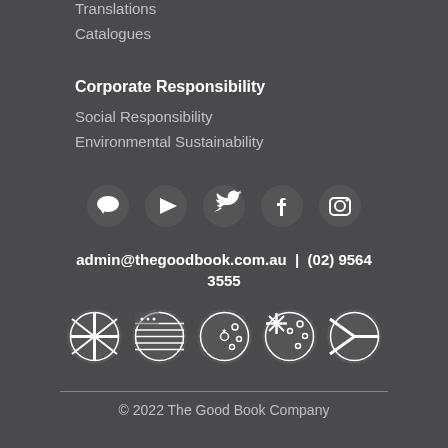Translations
Catalogues
Corporate Responsibility
Social Responsibility
Environmental Sustainability
[Figure (infographic): Row of 5 social media icons: chat bubble, YouTube play button, Twitter bird, Facebook f, Instagram camera]
admin@thegoodbook.com.au  |  (02) 9564 3555
[Figure (infographic): Row of 5 circular country flag icons: UK, USA, Australia, New Zealand, South Africa]
© 2022 The Good Book Company